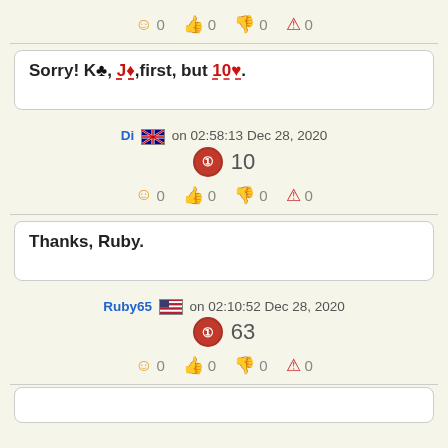😊 0  👍 0  👎 0  ⚠ 0
Sorry! K♣, J♦,first, but 10♥.
Di 🇦🇺 on 02:58:13 Dec 28, 2020
10
😊 0  👍 0  👎 0  ⚠ 0
Thanks, Ruby.
Ruby65 🇺🇸 on 02:10:52 Dec 28, 2020
63
😊 0  👍 0  👎 0  ⚠ 0